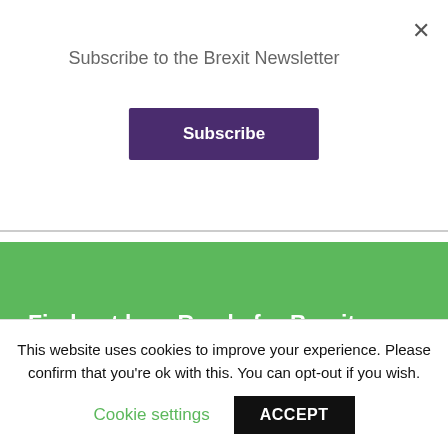Subscribe to the Brexit Newsletter
Subscribe
Find out how Ready for Brexit consulting can help your business
RECENT NEWS
EDITOR'S NOTE | NEWS | ANALYSIS | INTERVIEW
This website uses cookies to improve your experience. Please confirm that you're ok with this. You can opt-out if you wish.
Cookie settings
ACCEPT